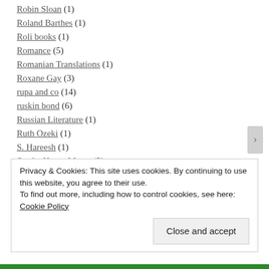Robin Sloan (1)
Roland Barthes (1)
Roli books (1)
Romance (5)
Romanian Translations (1)
Roxane Gay (3)
rupa and co (14)
ruskin bond (6)
Russian Literature (1)
Ruth Ozeki (1)
S. Hareesh (1)
Saadat Hasan Manto (2)
Sadat Hasan Manto (1)
Privacy & Cookies: This site uses cookies. By continuing to use this website, you agree to their use. To find out more, including how to control cookies, see here: Cookie Policy
Close and accept